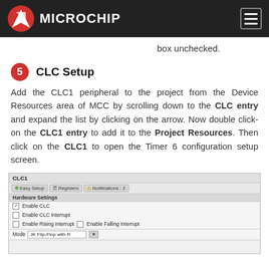Microchip
box unchecked.
5 CLC Setup
Add the CLC1 peripheral to the project from the Device Resources area of MCC by scrolling down to the CLC entry and expand the list by clicking on the arrow. Now double click-on the CLC1 entry to add it to the Project Resources. Then click on the CLC1 to open the Timer 6 configuration setup screen.
[Figure (screenshot): CLC1 configuration panel showing Easy Setup, Registers, and Notifications tabs. Hardware Settings section with Enable CLC checkbox checked, Enable CLC Interrupt unchecked, Enable Rising Interrupt and Enable Falling Interrupt unchecked. Mode dropdown showing JK Flip-Flop with R.]